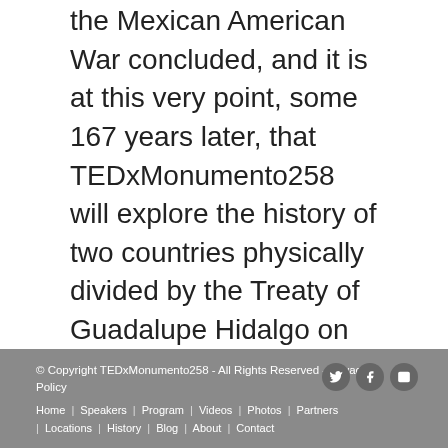the Mexican American War concluded, and it is at this very point, some 167 years later, that TEDxMonumento258 will explore the history of two countries physically divided by the Treaty of Guadalupe Hidalgo on February 2, 1848, seek to understand the challenges that exist between these two diverse cultures, and examine the opportunities unfolding within the Cali-Baja MegaRegion.
[Figure (infographic): Row of four social share buttons: Facebook (f icon), Twitter (bird icon), Tumblr (t icon), Email (envelope icon)]
© Copyright TEDxMonumento258 - All Rights Reserved - Privacy Policy
Home | Speakers | Program | Videos | Photos | Partners | Locations | History | Blog | About | Contact